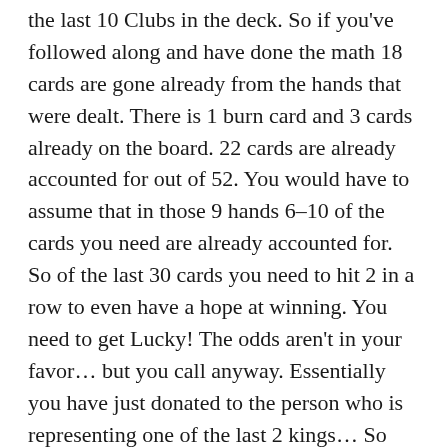the last 10 Clubs in the deck. So if you've followed along and have done the math 18 cards are gone already from the hands that were dealt. There is 1 burn card and 3 cards already on the board. 22 cards are already accounted for out of 52. You would have to assume that in those 9 hands 6–10 of the cards you need are already accounted for. So of the last 30 cards you need to hit 2 in a row to even have a hope at winning. You need to get Lucky! The odds aren't in your favor… but you call anyway. Essentially you have just donated to the person who is representing one of the last 2 kings… So  the turn comes out 2d… at this point please fold… it's never good to donate…
I think one of the biggest misconceptions in the